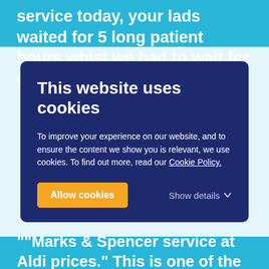service today, your lads waited for 5 long patient hours whist we had to wait for our keys!!!
This website uses cookies
To improve your experience on our website, and to ensure the content we show you is relevant, we use cookies. To find out more, read our Cookie Policy.
Allow cookies  Show details
""Marks & Spencer service at Aldi prices." This is one of the many reasons I've been really impressed with @Pickfords." "Heroes of the day: @Pickfords Edinburgh's Sparky and Allan! Thanks so much guys!! Total life savers. #blessed